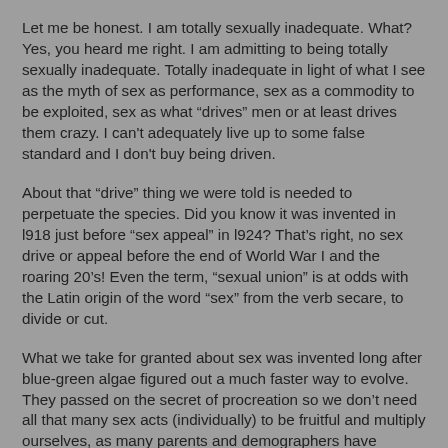Let me be honest. I am totally sexually inadequate. What? Yes, you heard me right. I am admitting to being totally sexually inadequate. Totally inadequate in light of what I see as the myth of sex as performance, sex as a commodity to be exploited, sex as what “drives” men or at least drives them crazy. I can't adequately live up to some false standard and I don't buy being driven.
About that “drive” thing we were told is needed to perpetuate the species. Did you know it was invented in l918 just before “sex appeal” in l924? That’s right, no sex drive or appeal before the end of World War I and the roaring 20’s! Even the term, “sexual union” is at odds with the Latin origin of the word “sex” from the verb secare, to divide or cut.
What we take for granted about sex was invented long after blue-green algae figured out a much faster way to evolve. They passed on the secret of procreation so we don’t need all that many sex acts (individually) to be fruitful and multiply ourselves, as many parents and demographers have discovered.